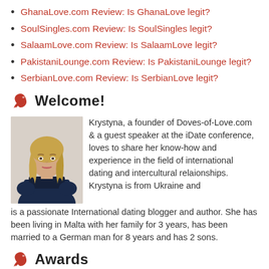GhanaLove.com Review: Is GhanaLove legit?
SoulSingles.com Review: Is SoulSingles legit?
SalaamLove.com Review: Is SalaamLove legit?
PakistaniLounge.com Review: Is PakistaniLounge legit?
SerbianLove.com Review: Is SerbianLove legit?
Welcome!
[Figure (photo): Portrait photo of Krystyna, a blonde woman in a dark top]
Krystyna, a founder of Doves-of-Love.com & a guest speaker at the iDate conference, loves to share her know-how and experience in the field of international dating and intercultural relaionships. Krystyna is from Ukraine and is a passionate International dating blogger and author. She has been living in Malta with her family for 3 years, has been married to a German man for 8 years and has 2 sons.
Awards